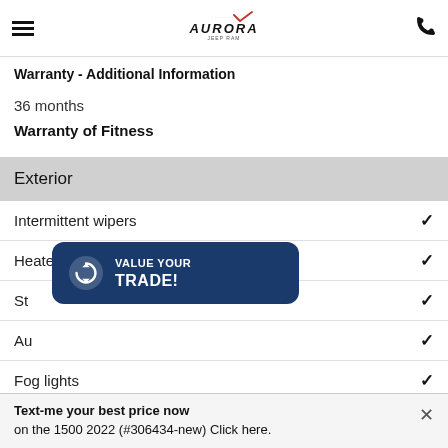Aurora Jeep — navigation and phone header
Warranty - Additional Information
36 months
Warranty of Fitness
Exterior
Intermittent wipers ✓
Heated mirrors ✓
St... ✓
Au... ✓
Fog lights ✓
Aluminum ✓
[Figure (infographic): VALUE YOUR TRADE! popup button overlay in dark navy blue with circular refresh icon]
Text-me your best price now on the 1500 2022 (#306434-new) Click here.